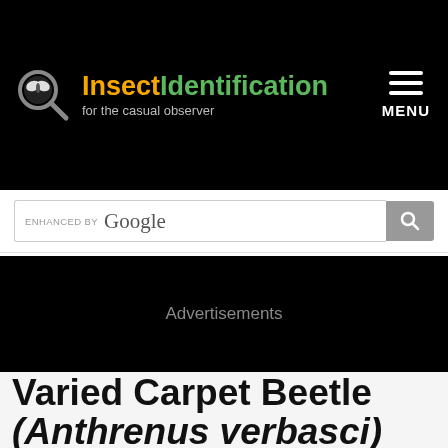InsectIdentification for the casual observer
[Figure (screenshot): InsectIdentification website screenshot showing logo with butterfly/magnifier icon, orange 'Insect' and green 'Identification' text, tagline 'for the casual observer', hamburger menu icon and MENU label on right, Google enhanced search bar, advertisement placeholder area, and page title 'Varied Carpet Beetle (Anthrenus verbasci)']
Advertisements
Varied Carpet Beetle (Anthrenus verbasci)